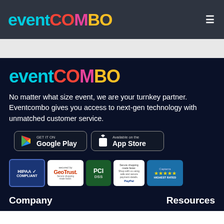eventCOMBO (logo) — navigation bar with hamburger menu
[Figure (logo): Eventcombo logo in dark footer section]
No matter what size event, we are your turnkey partner. Eventcombo gives you access to next-gen technology with unmatched customer service.
[Figure (infographic): Google Play and App Store download buttons]
[Figure (infographic): Trust badges: HIPAA Compliant, GeoTrust, PCI DSS, Secure shopping made faster (PayPal), Capterra Highest Rated]
Company    Resources